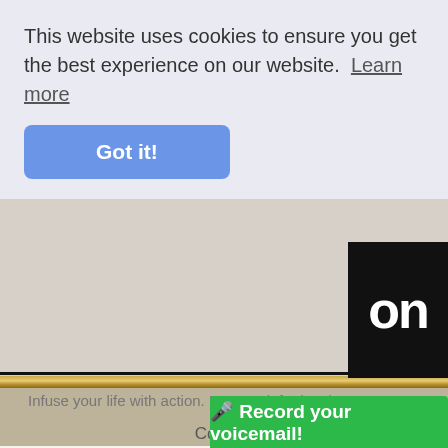This website uses cookies to ensure you get the best experience on our website. Learn more
Got it!
on
Infuse your life with action. Don't wait for it to happen. Make it happen. Make your own future. Make your own hope..." ~ Bradley Whitford ~
Contact
Highlights:
***TOSOL #39 – "Discove
🎤 Record your voicemail!